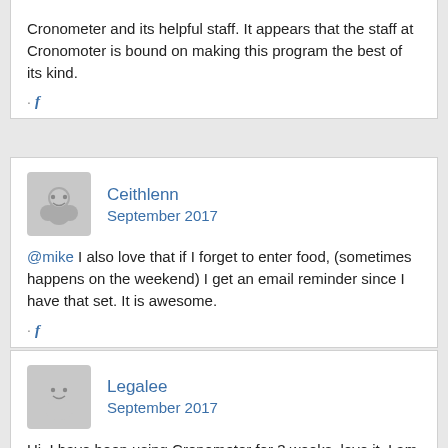Cronometer and its helpful staff. It appears that the staff at Cronomoter is bound on making this program the best of its kind.
· f
Ceithlenn
September 2017
@mike I also love that if I forget to enter food, (sometimes happens on the weekend) I get an email reminder since I have that set. It is awesome.
· f
Legalee
September 2017
Hi, I have been using Cronometer for 3 weeks, love it. I am a 63yr old retired wife and mother. I started out 10 weeks ago